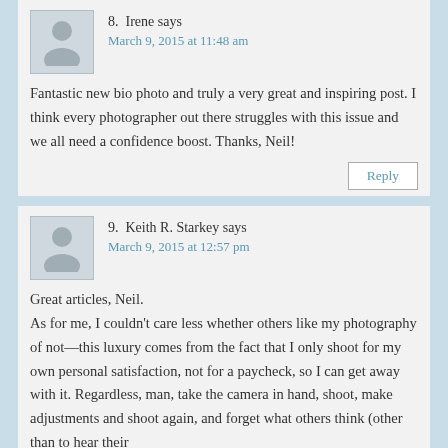[Figure (illustration): Avatar silhouette for commenter Irene]
8.  Irene says
March 9, 2015 at 11:48 am
Fantastic new bio photo and truly a very great and inspiring post. I think every photographer out there struggles with this issue and we all need a confidence boost. Thanks, Neil!
Reply
[Figure (illustration): Avatar silhouette for commenter Keith R. Starkey]
9.  Keith R. Starkey says
March 9, 2015 at 12:57 pm
Great articles, Neil.
As for me, I couldn't care less whether others like my photography of not—this luxury comes from the fact that I only shoot for my own personal satisfaction, not for a paycheck, so I can get away with it. Regardless, man, take the camera in hand, shoot, make adjustments and shoot again, and forget what others think (other than to hear their